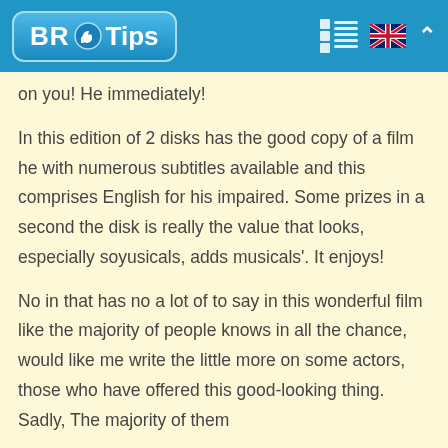BR Tips
on you! He immediately!
In this edition of 2 disks has the good copy of a film he with numerous subtitles available and this comprises English for his impaired. Some prizes in a second the disk is really the value that looks, especially soyusicals, adds musicals'. It enjoys!
No in that has no a lot of to say in this wonderful film like the majority of people knows in all the chance, would like me write the little more on some actors, those who have offered this good-looking thing. Sadly, The majority of them